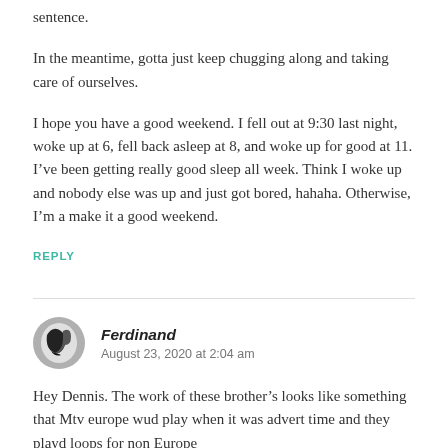sentence.
In the meantime, gotta just keep chugging along and taking care of ourselves.
I hope you have a good weekend. I fell out at 9:30 last night, woke up at 6, fell back asleep at 8, and woke up for good at 11. I’ve been getting really good sleep all week. Think I woke up and nobody else was up and just got bored, hahaha. Otherwise, I’m a make it a good weekend.
REPLY
[Figure (photo): Avatar photo for commenter Ferdinand, a small circular profile image showing a bird or abstract black and white image.]
Ferdinand
August 23, 2020 at 2:04 am
Hey Dennis. The work of these brother’s looks like something that Mtv europe wud play when it was advert time and they playd loops for non Europe